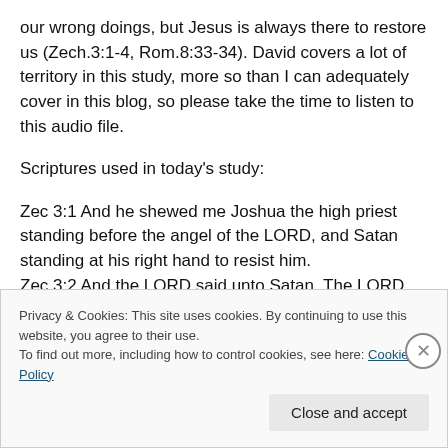our wrong doings, but Jesus is always there to restore us (Zech.3:1-4, Rom.8:33-34). David covers a lot of territory in this study, more so than I can adequately cover in this blog, so please take the time to listen to this audio file.
Scriptures used in today's study:
Zec 3:1 And he shewed me Joshua the high priest standing before the angel of the LORD, and Satan standing at his right hand to resist him.
Zec 3:2 And the LORD said unto Satan, The LORD rebuke
Privacy & Cookies: This site uses cookies. By continuing to use this website, you agree to their use.
To find out more, including how to control cookies, see here: Cookie Policy